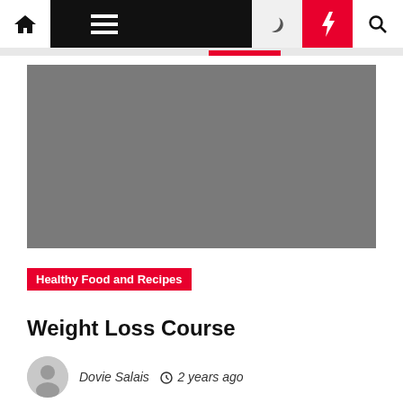Navigation bar with home, menu, moon, bolt, and search icons
[Figure (photo): Large gray placeholder hero image for article]
Healthy Food and Recipes
Weight Loss Course
Dovie Salais  2 years ago